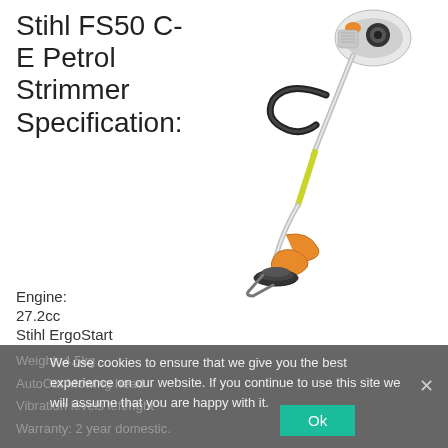Stihl FS50 C-E Petrol Strimmer Specification:
[Figure (photo): Stihl FS50 C-E petrol strimmer product image showing the full tool with curved shaft, orange cutting head, yellow shaft section, and black loop handle]
Engine:
27.2cc
Stihl ErgoStart
Power
Output: 0.8kW / 1.1 bhp
Weight: 4.5kg
AutoCut Mowing head
Vibration levels left/right
Warranty: 2 year domestic.
We use cookies to ensure that we give you the best experience on our website. If you continue to use this site we will assume that you are happy with it.